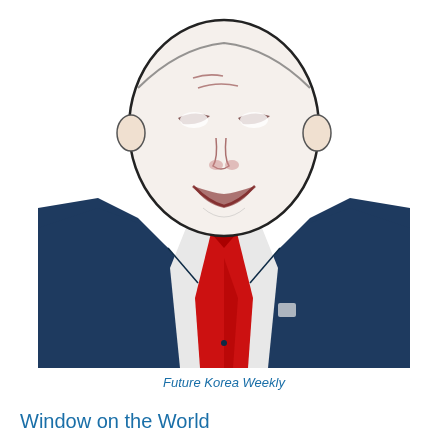[Figure (illustration): Caricature illustration of a man in a dark navy blue suit with a red tie and white shirt. The face is rendered in a stylized cartoon/illustration style with exaggerated features, white face with dark outlines and reddish-brown shading details. The figure is cropped at the torso.]
Future Korea Weekly
Window on the World